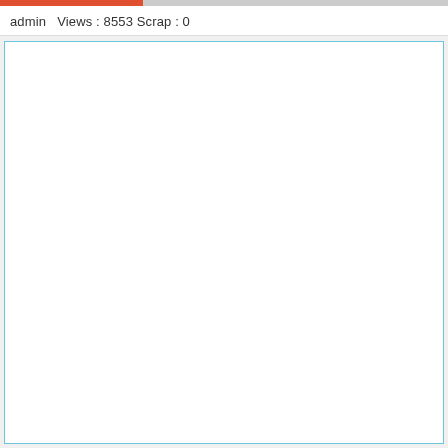admin   Views : 8553 Scrap : 0